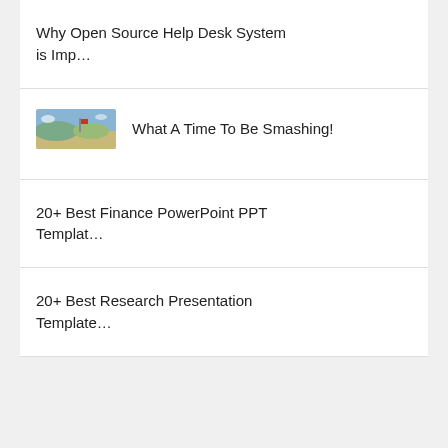Why Open Source Help Desk System is Imp…
What A Time To Be Smashing!
20+ Best Finance PowerPoint PPT Templat…
20+ Best Research Presentation Template…